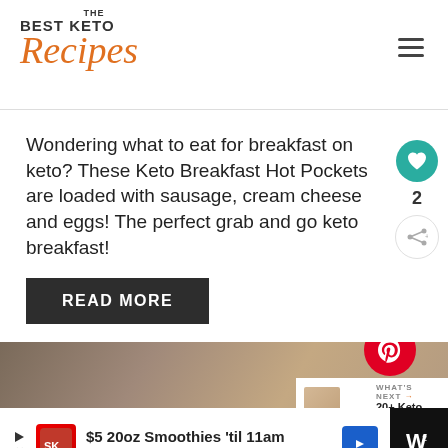THE BEST KETO Recipes
Wondering what to eat for breakfast on keto? These Keto Breakfast Hot Pockets are loaded with sausage, cream cheese and eggs! The perfect grab and go keto breakfast!
READ MORE
[Figure (photo): Food photo of keto breakfast hot pockets]
WHAT'S NEXT → 20+ Keto
$5 20oz Smoothies 'til 11am Smoothie King